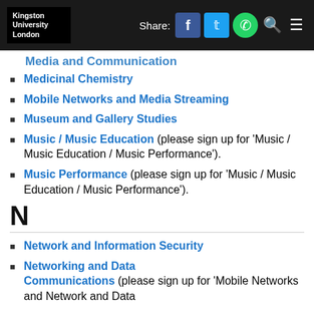Kingston University London | Share: [Facebook] [Twitter] [WhatsApp] [Search] [Menu]
Media and Communication
Medicinal Chemistry
Mobile Networks and Media Streaming
Museum and Gallery Studies
Music / Music Education (please sign up for 'Music / Music Education / Music Performance').
Music Performance (please sign up for 'Music / Music Education / Music Performance').
N
Network and Information Security
Networking and Data Communications (please sign up for 'Mobile Networks and Network and Data